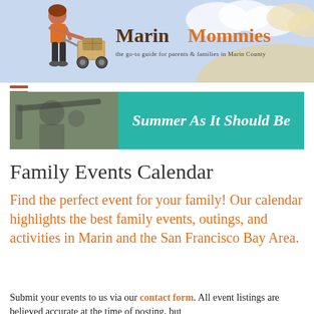[Figure (illustration): Marin Mommies website header with light blue background, illustrated woman pushing a wagon/stroller, clouds, and site logo text 'Marin Mommies - the go-to guide for parents & families in Marin County']
[Figure (photo): Banner image showing 'Summer As It Should Be' with a photo of children on left and teal/turquoise background on right with white italic text]
Family Events Calendar
Find the perfect event for your family! Our calendar highlights the best family events, outings, and activities in Marin and the San Francisco Bay Area.
Submit your events to us via our contact form. All event listings are believed accurate at the time of posting, but